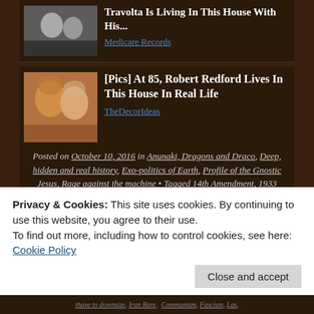[Figure (photo): Ad card: photo of two people, headline about Travolta living in a house]
Travolta Is Living In This House With His...
Medicare Records
[Figure (photo): Ad card: photo of Robert Redford with a woman]
[Pics] At 85, Robert Redford Lives In This House In Real Life
TheDecorIdeas
Posted on October 10, 2016 in Anunaki, Dragons and Draco, Deep, hidden and real history, Exo-politics of Earth, Profile of the Gnostic Jesus, Rage against the machine • Tagged 14th Amendment, 1933 Haavara Agreement, 1982-83 war, 1984, 9/11 attack, Abolishment
Privacy & Cookies: This site uses cookies. By continuing to use this website, you agree to their use.
To find out more, including how to control cookies, see here: Cookie Policy
Close and accept